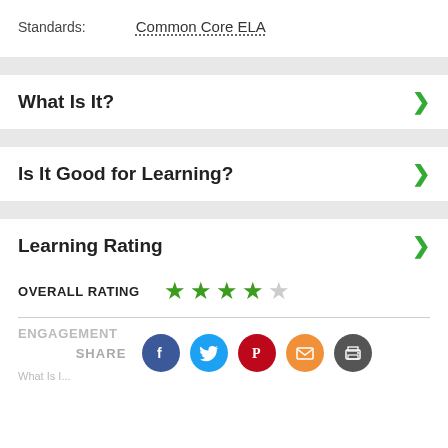Standards: Common Core ELA
What Is It?
Is It Good for Learning?
Learning Rating
OVERALL RATING ★★★★☆
ENGAGEMENT
SHARE